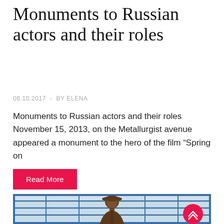Monuments to Russian actors and their roles
06.10.2017  -  BY ELENA
Monuments to Russian actors and their roles November 15, 2013, on the Metallurgist avenue appeared a monument to the hero of the film “Spring on
Read More
[Figure (photo): Bronze statue of a man wearing a cap, photographed in front of a building with a blue glass grid facade. A red circular scroll-to-top button is visible in the lower-right corner of the image.]